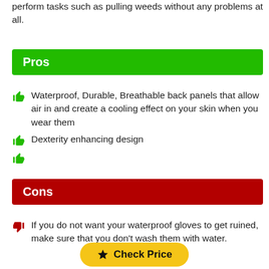perform tasks such as pulling weeds without any problems at all.
Pros
Waterproof, Durable, Breathable back panels that allow air in and create a cooling effect on your skin when you wear them
Dexterity enhancing design
Cons
If you do not want your waterproof gloves to get ruined, make sure that you don't wash them with water.
Check Price